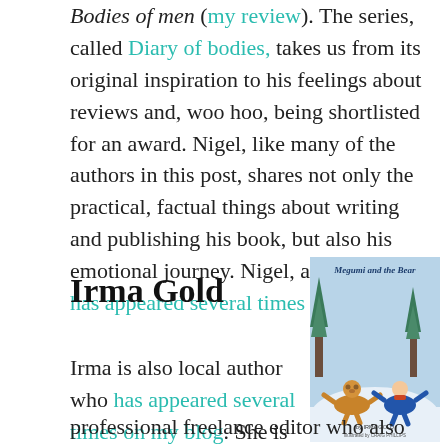Bodies of men (my review). The series, called Diary of bodies, takes us from its original inspiration to his feelings about reviews and, woo hoo, being shortlisted for an award. Nigel, like many of the authors in this post, shares not only the practical, factual things about writing and publishing his book, but also his emotional journey. Nigel, a local author, has appeared several times on my blog.
Irma Gold
[Figure (illustration): Book cover of 'Megumi and the Bear' by Irma Gold, illustrated by Craig Phillips. Shows a bear and a child making snow angels in a snowy winter scene.]
Irma is also local author who has appeared several times on my blog. She is a professional freelance editor who also teaches editing. She has edited an anthology, and has had a collection of